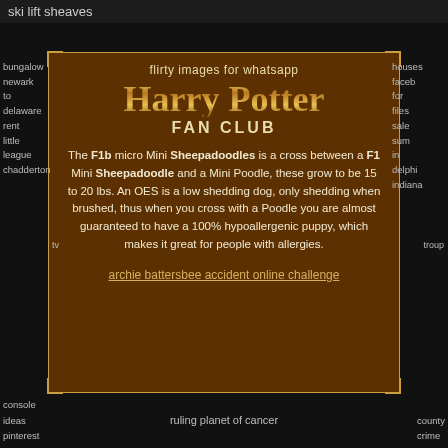ski lift sheaves
bungalow
newark
to
delaware
rent
little
league
chadderton
houses
faceb
for
files
sale
sum
in
delphi
indiana
flirty images for whatsapp
Harry Potter
FAN CLUB
The F1b micro Mini Sheepadoodles is a cross between a F1 Mini Sheepadoodle and a Mini Poodle, these grow to be 15 to 20 lbs. An OES is a low shedding dog, only shedding when brushed, thus when you cross with a Poodle you are almost guaranteed to have a 100% hypoallergenic puppy, which makes it great for people with allergies.
archie battersbee accident online challenge
tv
troup
console
ideas
pinterest
ruling planet of cancer
county
crime